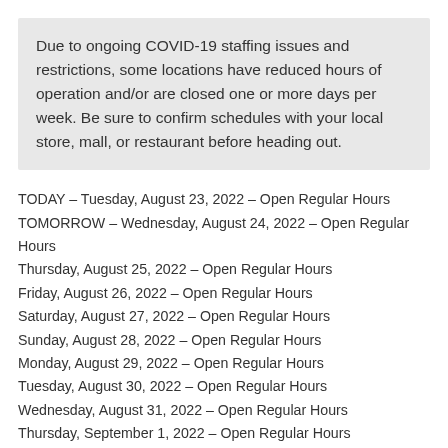Due to ongoing COVID-19 staffing issues and restrictions, some locations have reduced hours of operation and/or are closed one or more days per week. Be sure to confirm schedules with your local store, mall, or restaurant before heading out.
TODAY – Tuesday, August 23, 2022 – Open Regular Hours
TOMORROW – Wednesday, August 24, 2022 – Open Regular Hours
Thursday, August 25, 2022 – Open Regular Hours
Friday, August 26, 2022 – Open Regular Hours
Saturday, August 27, 2022 – Open Regular Hours
Sunday, August 28, 2022 – Open Regular Hours
Monday, August 29, 2022 – Open Regular Hours
Tuesday, August 30, 2022 – Open Regular Hours
Wednesday, August 31, 2022 – Open Regular Hours
Thursday, September 1, 2022 – Open Regular Hours
MONDAY, SEPTEMBER 5, 2022 – LABOR DAY: Most stores,